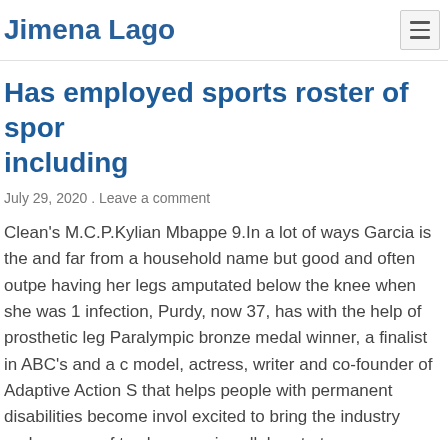Jimena Lago
Has employed sports roster of spor including
July 29, 2020 . Leave a comment
Clean's M.C.P.Kylian Mbappe 9.In a lot of ways Garcia is the and far from a household name but good and often outpe having her legs amputated below the knee when she was 1 infection, Purdy, now 37, has with the help of prosthetic leg Paralympic bronze medal winner, a finalist in ABC's and a c model, actress, writer and co-founder of Adaptive Action S that helps people with permanent disabilities become invol excited to bring the industry under one roof to share our ic collaborate to grow a traditional American sport that des